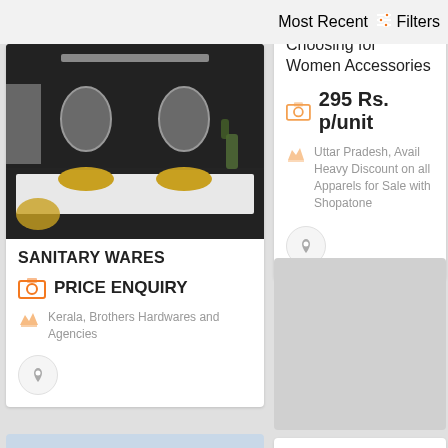Most Recent
Filters
[Figure (photo): Luxury bathroom with dark marble tiles, golden fixtures, double sinks and mirrors]
SANITARY WARES
PRICE ENQUIRY
Kerala, Brothers Hardwares and Agencies
Top Benefits of Choosing for Women Accessories
295 Rs. p/unit
Uttar Pradesh, Avail Heavy Discount on all Apparels for Sale with Shopatone
[Figure (photo): Gray placeholder block]
Turn Your Vision into Reality With India s No 1 Genericchit
1 Rs. p/unit
[Figure (photo): Silver flower cross earrings on red beaded necklace on white plate]